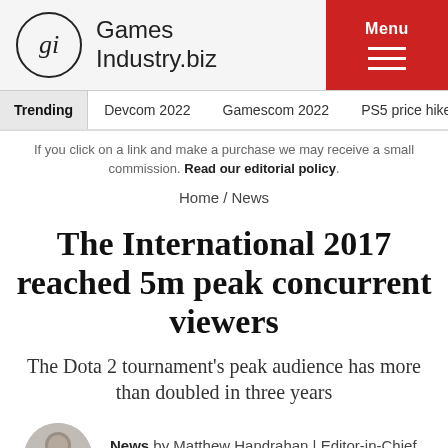GamesIndustry.biz | Menu
Trending | Devcom 2022 | Gamescom 2022 | PS5 price hike | Eve
If you click on a link and make a purchase we may receive a small commission. Read our editorial policy.
Home / News
The International 2017 reached 5m peak concurrent viewers
The Dota 2 tournament's peak audience has more than doubled in three years
News by Matthew Handrahan | Editor-in-Chief
Published on Aug. 14, 2017